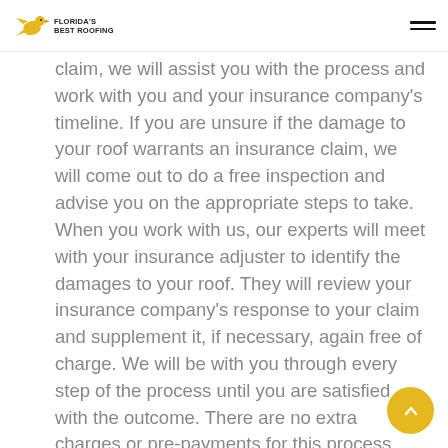Florida's Best Roofing
claim, we will assist you with the process and work with you and your insurance company's timeline. If you are unsure if the damage to your roof warrants an insurance claim, we will come out to do a free inspection and advise you on the appropriate steps to take. When you work with us, our experts will meet with your insurance adjuster to identify the damages to your roof. They will review your insurance company's response to your claim and supplement it, if necessary, again free of charge. We will be with you through every step of the process until you are satisfied with the outcome. There are no extra charges or pre-payments for this process beyond the cost of your roof replacement.